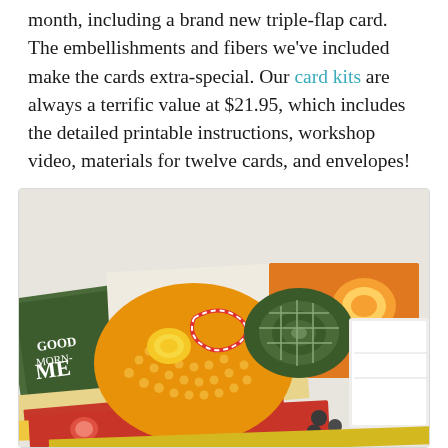month, including a brand new triple-flap card. The embellishments and fibers we've included make the cards extra-special. Our card kits are always a terrific value at $21.95, which includes the detailed printable instructions, workshop video, materials for twelve cards, and envelopes!
[Figure (photo): Photo of card kit contents including orange-themed cards with citrus designs, yellow brad/brads on an orange circle, green and yellow checkered ribbon coiled up, red and white twisted twine, and a white box, all spread on a light background.]